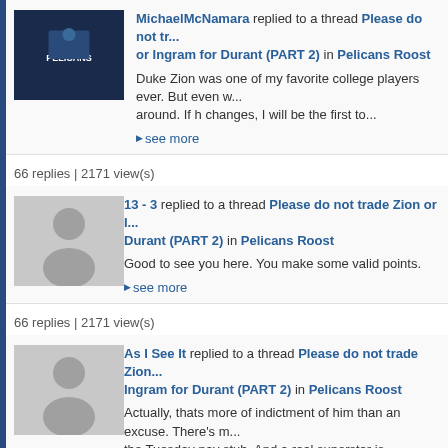MichaelMcNamara replied to a thread Please do not tr... or Ingram for Durant (PART 2) in Pelicans Roost
Duke Zion was one of my favorite college players ever. But even w... around. If h changes, I will be the first to...
▶ see more
66 replies | 2171 view(s)
13 - 3 replied to a thread Please do not trade Zion or I... Durant (PART 2) in Pelicans Roost
Good to see you here. You make some valid points.
▶ see more
66 replies | 2171 view(s)
As I See It replied to a thread Please do not trade Zion... Ingram for Durant (PART 2) in Pelicans Roost
Actually, thats more of indictment of him than an excuse. There's m... the Tuesday pay stub. And a real superstar is...
▶ see more
66 replies | 2171 view(s)
13 - 3 replied to a thread Please do not trade Zion or I... Durant (PART 2) in Pelicans Roost